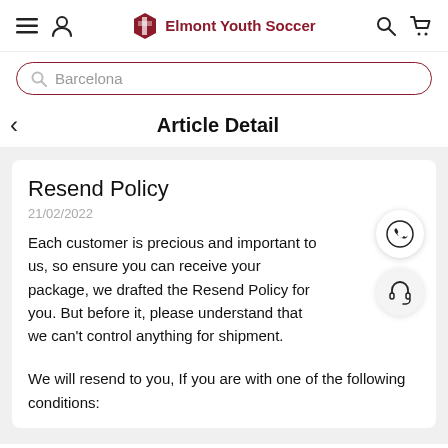Elmont Youth Soccer
Barcelona
Article Detail
Resend Policy
21/02/2022
Each customer is precious and important to us, so ensure you can receive your package, we drafted the Resend Policy for you. But before it, please understand that we can't control anything for shipment.
We will resend to you, If you are with one of the following conditions: